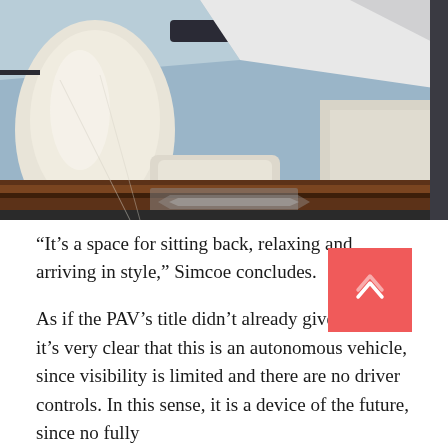[Figure (photo): Interior of a luxury autonomous vehicle concept (PAV), showing cream/white leather seating, a low wooden trim dashboard, and an upward-opening door revealing a gray sky. The interior has wide, reclining lounge-style seats and no visible driver controls.]
“It’s a space for sitting back, relaxing and arriving in style,” Simcoe concludes.
As if the PAV’s title didn’t already give it away, it’s very clear that this is an autonomous vehicle, since visibility is limited and there are no driver controls. In this sense, it is a device of the future, since no fully